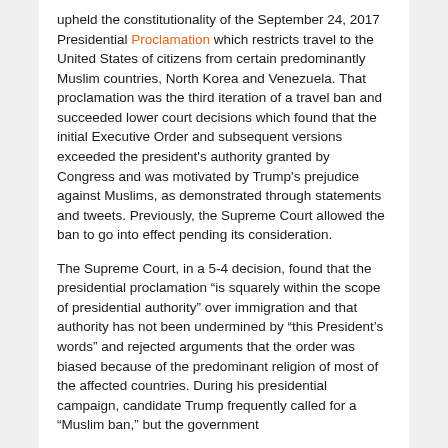upheld the constitutionality of the September 24, 2017 Presidential Proclamation which restricts travel to the United States of citizens from certain predominantly Muslim countries, North Korea and Venezuela. That proclamation was the third iteration of a travel ban and succeeded lower court decisions which found that the initial Executive Order and subsequent versions exceeded the president's authority granted by Congress and was motivated by Trump's prejudice against Muslims, as demonstrated through statements and tweets. Previously, the Supreme Court allowed the ban to go into effect pending its consideration.
The Supreme Court, in a 5-4 decision, found that the presidential proclamation “is squarely within the scope of presidential authority” over immigration and that authority has not been undermined by “this President’s words” and rejected arguments that the order was biased because of the predominant religion of most of the affected countries. During his presidential campaign, candidate Trump frequently called for a "Muslim ban," but the government